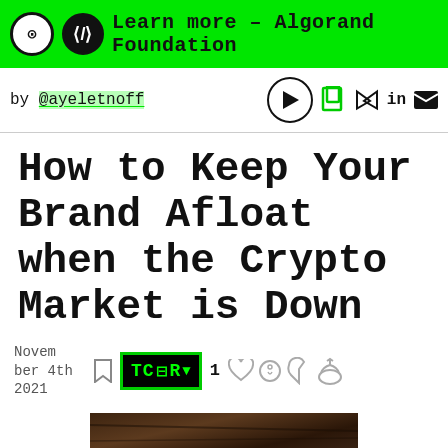Learn more – Algorand Foundation
by @ayeletnoff
How to Keep Your Brand Afloat when the Crypto Market is Down
November 4th 2021
[Figure (photo): Dark wood or bark texture image at the bottom of the page]